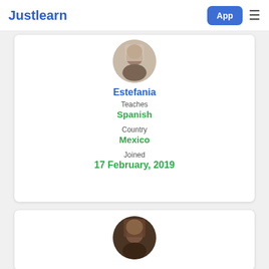Justlearn  App ≡
[Figure (photo): Circular profile photo of Estefania, a tutor on Justlearn]
Estefania
Teaches
Spanish
Country
Mexico
Joined
17 February, 2019
[Figure (photo): Circular profile photo of a second tutor, partially visible at bottom of page]